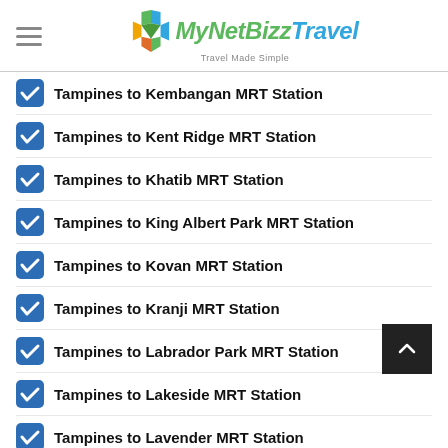MyNetBizz Travel - Travel Made Simple
Tampines to Kembangan MRT Station
Tampines to Kent Ridge MRT Station
Tampines to Khatib MRT Station
Tampines to King Albert Park MRT Station
Tampines to Kovan MRT Station
Tampines to Kranji MRT Station
Tampines to Labrador Park MRT Station
Tampines to Lakeside MRT Station
Tampines to Lavender MRT Station
Tampines to Lentor MRT Station
Tampines to Little India MRT Station